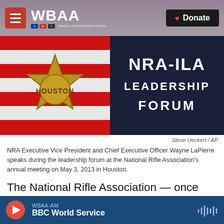WBAA — Donate
[Figure (photo): NRA-ILA Leadership Forum sign with Houston sheriff badge and American flag in background]
Steve Ueckert / AP
NRA Executive Vice President and Chief Executive Officer Wayne LaPierre speaks during the leadership forum at the National Rifle Association's annual meeting on May 3, 2013 in Houston.
The National Rifle Association — once one of the most well-known and influential lobbying organizations in the country — is a wounded beast
WBAA-AM  BBC World Service